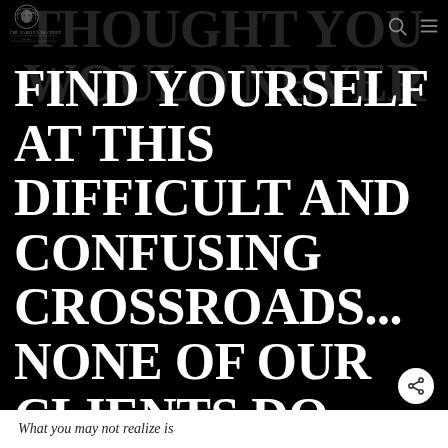[Figure (logo): CMC Family Law Group lion logo with text 'CMC FAMILY LAW GROUP Est. 2011']
THOUGHT YOU WOULD NEVER FIND YOURSELF AT THIS DIFFICULT AND CONFUSING CROSSROADS... NONE OF OUR CLIENTS DO.
What you may not realize is